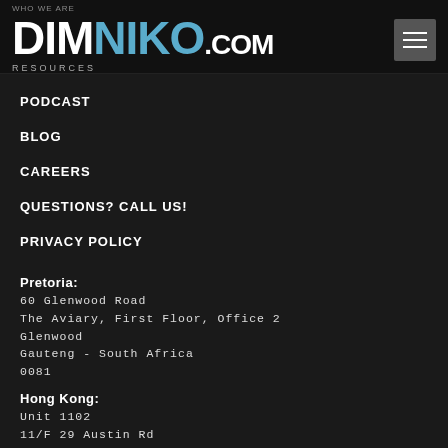WHO WE ARE
DIMNIKO.COM RESOURCES
PODCAST
BLOG
CAREERS
QUESTIONS? CALL US!
PRIVACY POLICY
Pretoria:
60 Glenwood Road
The Aviary, First Floor, Office 2
Glenwood
Gauteng - South Africa
0081
Hong Kong:
Unit 1102
11/F 29 Austin Rd